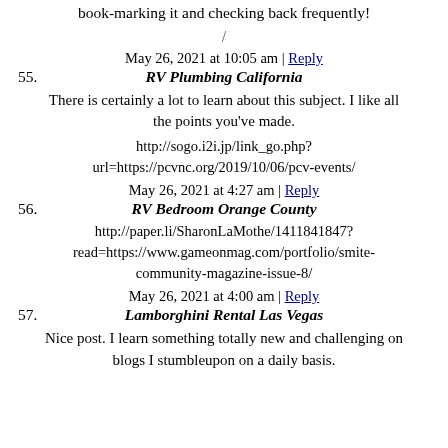book-marking it and checking back frequently!
/
May 26, 2021 at 10:05 am | Reply
55. RV Plumbing California
There is certainly a lot to learn about this subject. I like all the points you've made.
http://sogo.i2i.jp/link_go.php?url=https://pcvnc.org/2019/10/06/pcv-events/
May 26, 2021 at 4:27 am | Reply
56. RV Bedroom Orange County
http://paper.li/SharonLaMothe/1411841847?read=https://www.gameonmag.com/portfolio/smite-community-magazine-issue-8/
May 26, 2021 at 4:00 am | Reply
57. Lamborghini Rental Las Vegas
Nice post. I learn something totally new and challenging on blogs I stumbleupon on a daily basis.